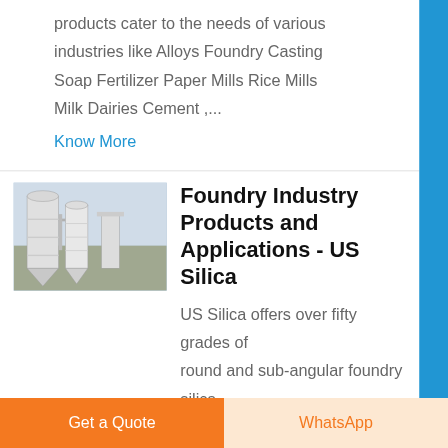products cater to the needs of various industries like Alloys Foundry Casting Soap Fertilizer Paper Mills Rice Mills Milk Dairies Cement ,...
Know More
[Figure (photo): Industrial machinery - large silo/grinding mill equipment in an industrial setting]
Foundry Industry Products and Applications - US Silica
US Silica offers over fifty grades of round and sub-angular foundry silica sand products for foundry molding and coremaking applications...
Know More
Get a Quote
WhatsApp